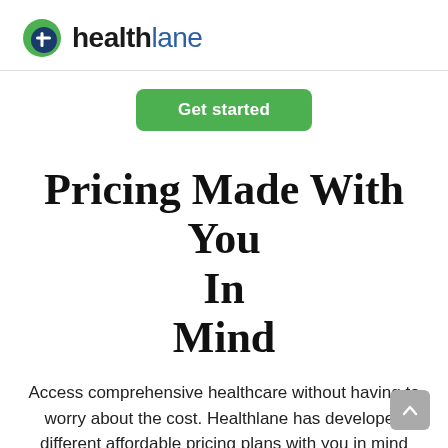[Figure (logo): Healthlane logo: green and blue circular icon with a white plus sign, followed by the word 'healthlane' in dark and blue text]
[Figure (other): Green rounded rectangle button labeled 'Get started']
Pricing Made With You In Mind
Access comprehensive healthcare without having to worry about the cost. Healthlane has developed different affordable pricing plans with you in mind